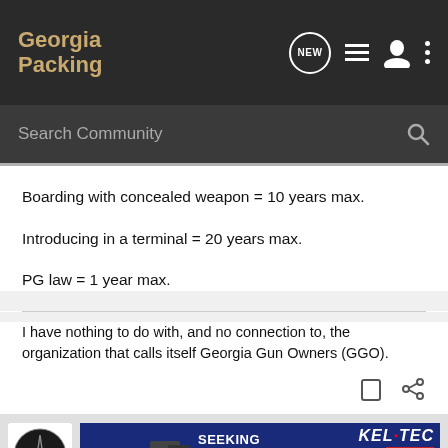Georgia Packing
Search Community
Boarding with concealed weapon = 10 years max.
Introducing in a terminal = 20 years max.
PG law = 1 year max.
I have nothing to do with, and no connection to, the organization that calls itself Georgia Gun Owners (GGO).
[Figure (screenshot): Advertisement banner: Kel-Tec CP33 Pistol - Seeking Long Range Relationship, with Norinco logo on left]